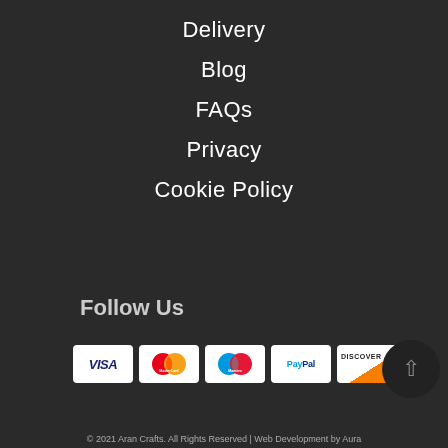Delivery
Blog
FAQs
Privacy
Cookie Policy
Follow Us
[Figure (logo): Payment method logos: Visa, MasterCard, Maestro, PayPal, Discover]
© 2021 Aran Crafts. All Rights Reserved | Web Development by Aura